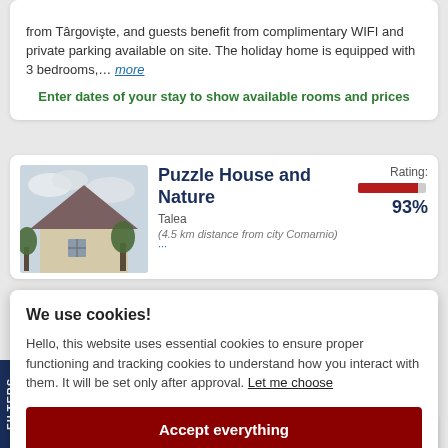from Târgovişte, and guests benefit from complimentary WIFI and private parking available on site. The holiday home is equipped with 3 bedrooms,… more
Enter dates of your stay to show available rooms and prices
[Figure (photo): Exterior photo of Puzzle House and Nature property showing a house with triangular roof against a cloudy sky]
Puzzle House and Nature
Talea
(4.5 km distance from city Comarnio)
Rating: 93%
We use cookies!
Hello, this website uses essential cookies to ensure proper functioning and tracking cookies to understand how you interact with them. It will be set only after approval. Let me choose
Accept everything
Reject everything
FILTERS
Casa din deal
Rating: